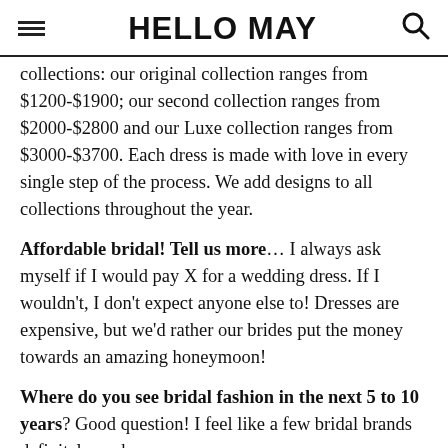HELLO MAY
collections: our original collection ranges from $1200-$1900; our second collection ranges from $2000-$2800 and our Luxe collection ranges from $3000-$3700. Each dress is made with love in every single step of the process. We add designs to all collections throughout the year.
Affordable bridal! Tell us more... I always ask myself if I would pay X for a wedding dress. If I wouldn't, I don't expect anyone else to! Dresses are expensive, but we'd rather our brides put the money towards an amazing honeymoon!
Where do you see bridal fashion in the next 5 to 10 years? Good question! I feel like a few bridal brands definitely push the boundaries with their designs. We prefer to keep it simple and timeless but I hope a low back doesn't go out of style because I love them so much! I am so happy brides are back into wearing veils. We are in love with ours and feel the look